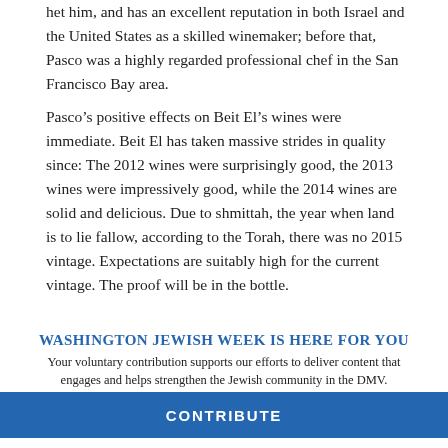het him, and has an excellent reputation in both Israel and the United States as a skilled winemaker; before that, Pasco was a highly regarded professional chef in the San Francisco Bay area.
Pasco’s positive effects on Beit El’s wines were immediate. Beit El has taken massive strides in quality since: The 2012 wines were surprisingly good, the 2013 wines were impressively good, while the 2014 wines are solid and delicious. Due to shmittah, the year when land is to lie fallow, according to the Torah, there was no 2015 vintage. Expectations are suitably high for the current vintage. The proof will be in the bottle.
WASHINGTON JEWISH WEEK IS HERE FOR YOU
Your voluntary contribution supports our efforts to deliver content that engages and helps strengthen the Jewish community in the DMV.
CONTRIBUTE
100 percent cabernet offers strong and beautiful aromas a concentrated flavors of cherry, blueberry, currant and plu some nice black pepper and a touch of anise pitch. Finish: Th